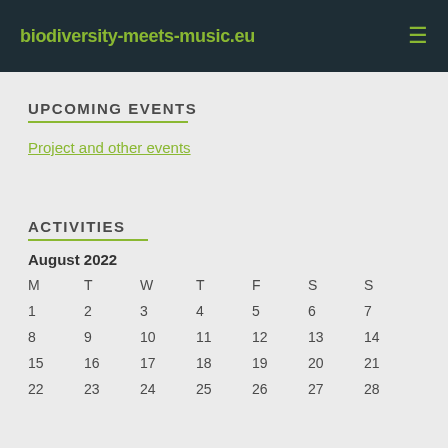biodiversity-meets-music.eu
UPCOMING EVENTS
Project and other events
ACTIVITIES
| M | T | W | T | F | S | S |
| --- | --- | --- | --- | --- | --- | --- |
| 1 | 2 | 3 | 4 | 5 | 6 | 7 |
| 8 | 9 | 10 | 11 | 12 | 13 | 14 |
| 15 | 16 | 17 | 18 | 19 | 20 | 21 |
| 22 | 23 | 24 | 25 | 26 | 27 | 28 |